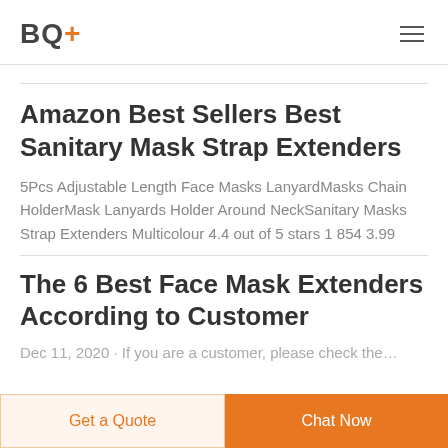BQ+
Amazon Best Sellers Best Sanitary Mask Strap Extenders
5Pcs Adjustable Length Face Masks LanyardMasks Chain HolderMask Lanyards Holder Around NeckSanitary Masks Strap Extenders Multicolour 4.4 out of 5 stars 1 854 3.99
The 6 Best Face Mask Extenders According to Customer
Dec 11, 2020 · If you are a customer…